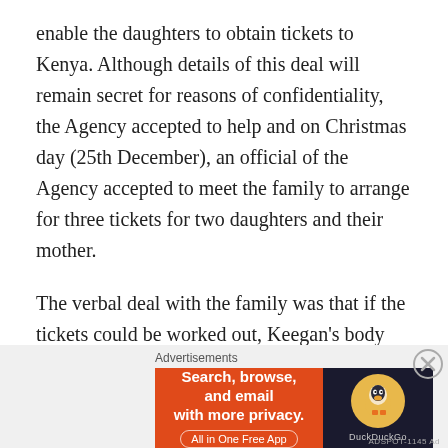enable the daughters to obtain tickets to Kenya. Although details of this deal will remain secret for reasons of confidentiality, the Agency accepted to help and on Christmas day (25th December), an official of the Agency accepted to meet the family to arrange for three tickets for two daughters and their mother.
The verbal deal with the family was that if the tickets could be worked out, Keegan's body would be transported to Kenya on the 30th December 2013 for him to be buried on 3rd January 2014. The deal went through and Keegan's body was transported to Kenya. The family travelled the same day that the body left Stockholm. Any questions about this Report should be directed to the Keegan
Advertisements
[Figure (screenshot): DuckDuckGo advertisement banner: orange left section with text 'Search, browse, and email with more privacy. All in One Free App', dark right section with DuckDuckGo logo duck icon and brand name.]